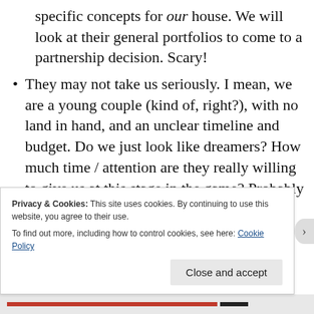specific concepts for our house. We will look at their general portfolios to come to a partnership decision. Scary!
They may not take us seriously. I mean, we are a young couple (kind of, right?), with no land in hand, and an unclear timeline and budget. Do we just look like dreamers? How much time / attention are they really willing to give us at this stage in the game? Probably not too much – which means we will probably still be going somewhat blind into a relationship that has
Privacy & Cookies: This site uses cookies. By continuing to use this website, you agree to their use.
To find out more, including how to control cookies, see here: Cookie Policy